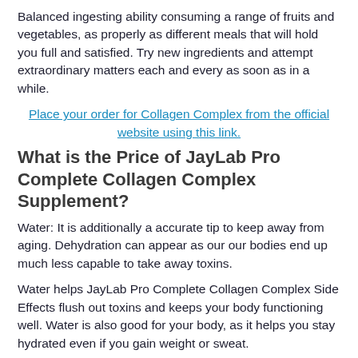Balanced ingesting ability consuming a range of fruits and vegetables, as properly as different meals that will hold you full and satisfied. Try new ingredients and attempt extraordinary matters each and every as soon as in a while.
Place your order for Collagen Complex from the official website using this link.
What is the Price of JayLab Pro Complete Collagen Complex Supplement?
Water: It is additionally a accurate tip to keep away from aging. Dehydration can appear as our our bodies end up much less capable to take away toxins.
Water helps JayLab Pro Complete Collagen Complex Side Effects flush out toxins and keeps your body functioning well. Water is also good for your body, as it helps you stay hydrated even if you gain weight or sweat.